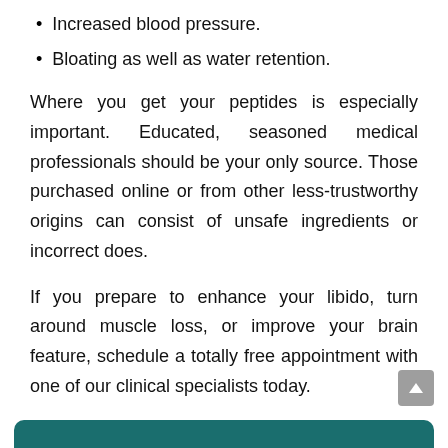Increased blood pressure.
Bloating as well as water retention.
Where you get your peptides is especially important. Educated, seasoned medical professionals should be your only source. Those purchased online or from other less-trustworthy origins can consist of unsafe ingredients or incorrect does.
If you prepare to enhance your libido, turn around muscle loss, or improve your brain feature, schedule a totally free appointment with one of our clinical specialists today.